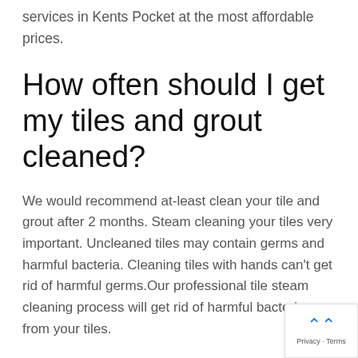services in Kents Pocket at the most affordable prices.
How often should I get my tiles and grout cleaned?
We would recommend at-least clean your tile and grout after 2 months. Steam cleaning your tiles very important. Uncleaned tiles may contain germs and harmful bacteria. Cleaning tiles with hands can't get rid of harmful germs.Our professional tile steam cleaning process will get rid of harmful bacteria from your tiles.
What cleaning tile and